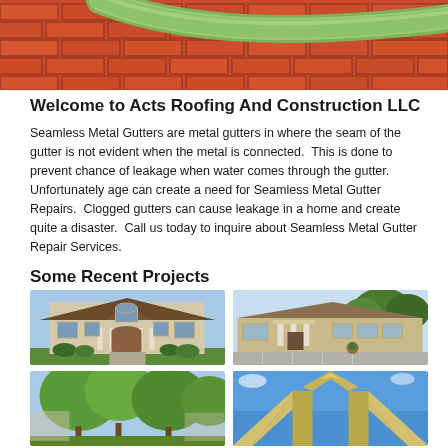[Figure (photo): Close-up of red brick wall with a green pipe/duct running diagonally]
Welcome to Acts Roofing And Construction LLC
Seamless Metal Gutters are metal gutters in where the seam of the gutter is not evident when the metal is connected.  This is done to prevent chance of leakage when water comes through the gutter.  Unfortunately age can create a need for Seamless Metal Gutter Repairs.  Clogged gutters can cause leakage in a home and create quite a disaster.  Call us today to inquire about Seamless Metal Gutter Repair Services.
Some Recent Projects
[Figure (photo): Two-story beige brick house with columns and brown roof]
[Figure (photo): Single-story tan building with white columns and parking lot]
[Figure (photo): Green trees in front of a building]
[Figure (photo): Roof peak with wooden beams against blue sky]